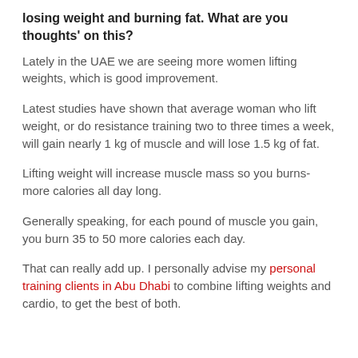losing weight and burning fat. What are you thoughts' on this?
Lately in the UAE we are seeing more women lifting weights, which is good improvement.
Latest studies have shown that average woman who lift weight, or do resistance training two to three times a week, will gain nearly 1 kg of muscle and will lose 1.5 kg of fat.
Lifting weight will increase muscle mass so you burns-more calories all day long.
Generally speaking, for each pound of muscle you gain, you burn 35 to 50 more calories each day.
That can really add up. I personally advise my personal training clients in Abu Dhabi to combine lifting weights and cardio, to get the best of both.